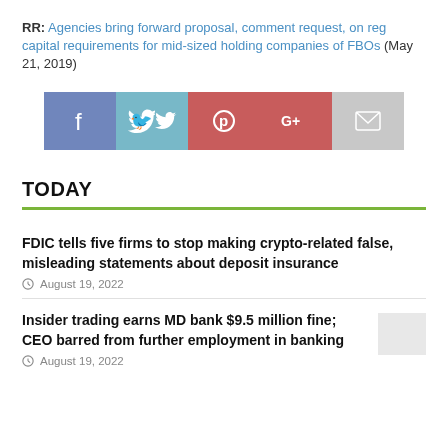RR: Agencies bring forward proposal, comment request, on reg capital requirements for mid-sized holding companies of FBOs (May 21, 2019)
[Figure (infographic): Social share buttons: Facebook (blue-purple), Twitter (light blue), Pinterest (red), Google+ (red), Email (light gray)]
TODAY
FDIC tells five firms to stop making crypto-related false, misleading statements about deposit insurance
August 19, 2022
Insider trading earns MD bank $9.5 million fine; CEO barred from further employment in banking
August 19, 2022